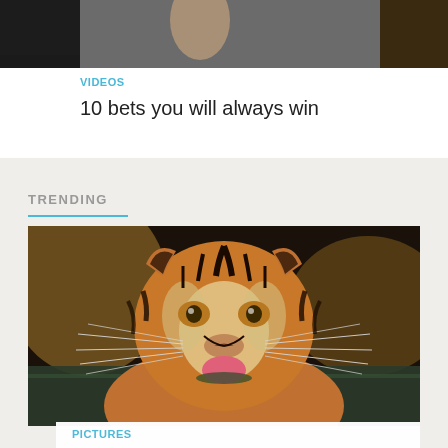[Figure (photo): Partial view of a video thumbnail showing a person, cropped at top]
VIDEOS
10 bets you will always win
TRENDING
[Figure (photo): Close-up photograph of a tiger drinking water, facing camera directly, with whiskers spread wide and pink tongue visible at water surface]
PICTURES